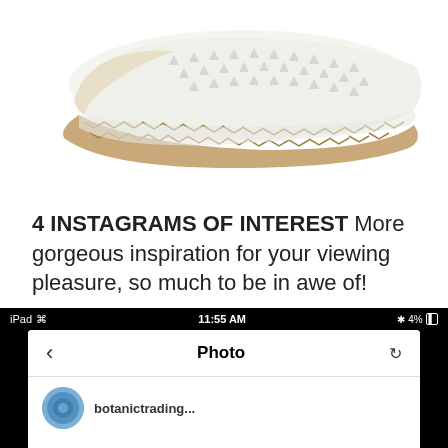[Figure (photo): A white espadrille flat shoe with perforated upper and braided jute sole, viewed from the side against a white background.]
4 INSTAGRAMS OF INTEREST More gorgeous inspiration for your viewing pleasure, so much to be in awe of!
[Figure (screenshot): Screenshot of an iPad showing an Instagram photo viewer app. Status bar shows iPad, 11:55 AM, 4% battery. The app shows a navigation bar with back arrow, 'Photo' title, and refresh button. Below is a profile avatar and partial username.]